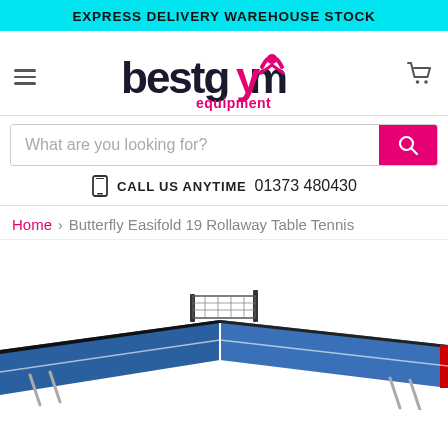EXPRESS DELIVERY WAREHOUSE STOCK
[Figure (logo): bestgym equipment logo with pink figure and text]
What are you looking for?
CALL US ANYTIME  01373 480430
Home > Butterfly Easifold 19 Rollaway Table Tennis
[Figure (photo): Blue Butterfly Easifold 19 Rollaway Table Tennis table with net, partially visible]